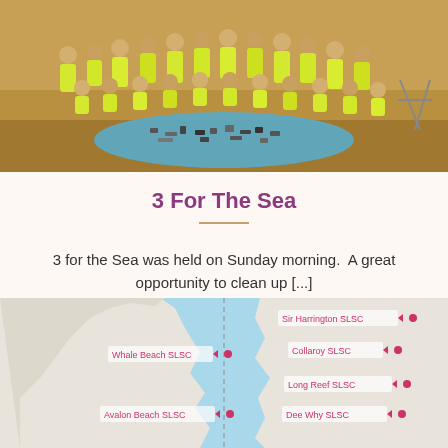[Figure (photo): Group photo of people in yellow t-shirts on a beach standing and kneeling around a blue tarp covered with collected rubbish/litter on the sand]
3 For The Sea
3 for the Sea was held on Sunday morning.  A great opportunity to clean up [...]
[Figure (map): Map showing surf life saving clubs locations along a coastline. Labels visible include: Whale Beach SLSC, Avalon Beach SLSC, Sir Harrington SLSC, Collaroy SLSC, Long Reef SLSC, Dee Why SLSC. Map shows blue water on the right side and white/beige land mass on the left. Red/pink location pins mark each club. A dotted vertical line divides the map in the middle.]